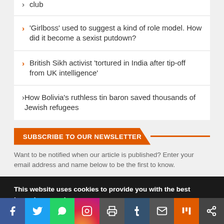club
'Girlboss' used to suggest a kind of role model. How did it become a sexist putdown?
British Sikh activist 'tortured in India after tip-off from UK intelligence'
How Bolivia's ruthless tin baron saved thousands of Jewish refugees
SUBSCRIBE TO OUR NEWSLETTER
Want to be notified when our article is published? Enter your email address and name below to be the first to know.
This website uses cookies to provide you with the best browsing experience. Find out more or adjust your settings.